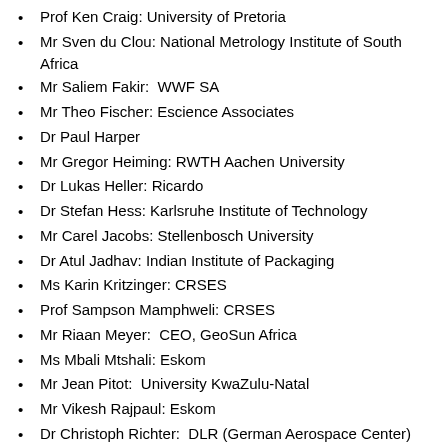Prof Ken Craig: University of Pretoria
Mr Sven du Clou: National Metrology Institute of South Africa
Mr Saliem Fakir:  WWF SA
Mr Theo Fischer: Escience Associates
Dr Paul Harper
Mr Gregor Heiming: RWTH Aachen University
Dr Lukas Heller: Ricardo
Dr Stefan Hess: Karlsruhe Institute of Technology
Mr Carel Jacobs: Stellenbosch University
Dr Atul Jadhav: Indian Institute of Packaging
Ms Karin Kritzinger: CRSES
Prof Sampson Mamphweli: CRSES
Mr Riaan Meyer:  CEO, GeoSun Africa
Ms Mbali Mtshali: Eskom
Mr Jean Pitot:  University KwaZulu-Natal
Mr Vikesh Rajpaul: Eskom
Dr Christoph Richter:  DLR (German Aerospace Center)
Mr Thomas Roos: CSIR
Mr Cebo Silinga: Technology Innovation Agency (TIA)